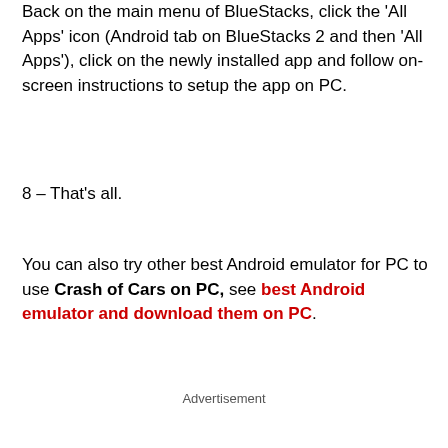Back on the main menu of BlueStacks, click the 'All Apps' icon (Android tab on BlueStacks 2 and then 'All Apps'), click on the newly installed app and follow on-screen instructions to setup the app on PC.
8 – That's all.
You can also try other best Android emulator for PC to use Crash of Cars on PC, see best Android emulator and download them on PC.
Advertisement